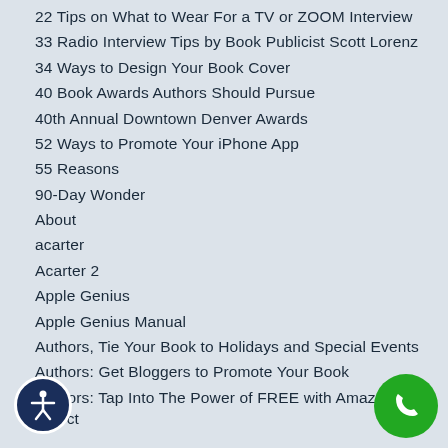22 Tips on What to Wear For a TV or ZOOM Interview
33 Radio Interview Tips by Book Publicist Scott Lorenz
34 Ways to Design Your Book Cover
40 Book Awards Authors Should Pursue
40th Annual Downtown Denver Awards
52 Ways to Promote Your iPhone App
55 Reasons
90-Day Wonder
About
acarter
Acarter 2
Apple Genius
Apple Genius Manual
Authors, Tie Your Book to Holidays and Special Events
Authors: Get Bloggers to Promote Your Book
Authors: Tap Into The Power of FREE with Amazon KDP Select